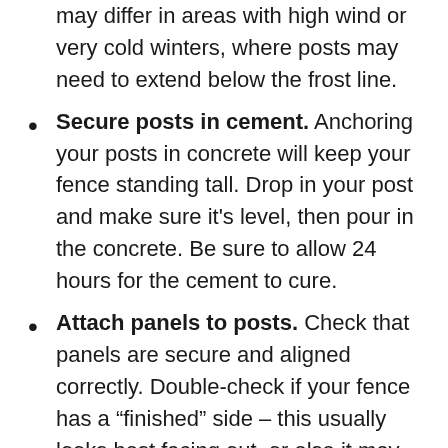may differ in areas with high wind or very cold winters, where posts may need to extend below the frost line.
Secure posts in cement. Anchoring your posts in concrete will keep your fence standing tall. Drop in your post and make sure it's level, then pour in the concrete. Be sure to allow 24 hours for the cement to cure.
Attach panels to posts. Check that panels are secure and aligned correctly. Double-check if your fence has a “finished” side – this usually looks best facing out, or else it may look like your fence was installed backwards.
Install gates and hardware. Hardware should be selected based on the construction materials you’re using and installed according to the manufacturer’s instructions.